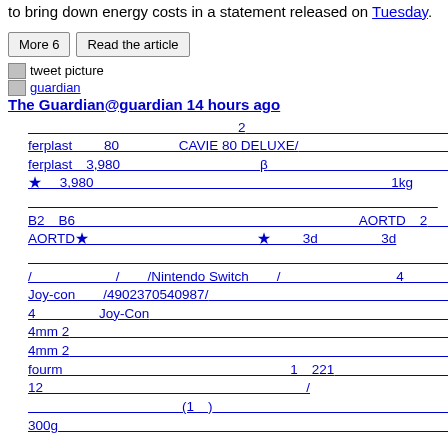to bring down energy costs in a statement released on Tuesday.
More 6 | Read the article
[Figure (other): tweet picture icon placeholder]
[Figure (other): guardian logo icon placeholder]
The Guardian@guardian 14 hours ago
Japanese text block with mixed content including: ferplast, CAVIE 80 DELUXE, ferplast¥3,980, B2~B6, AORTD, 3d, Nintendo Switch, Joy-con, 4902370540987, fourm, 300g and other Japanese characters